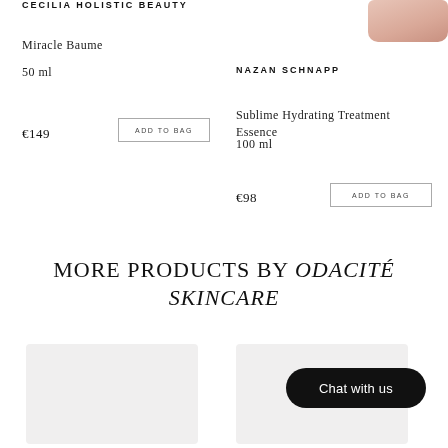CECILIA HOLISTIC BEAUTY
Miracle Baume
50 ml
€149
ADD TO BAG
[Figure (photo): Product photo of a pink/peach cylindrical beauty product]
NAZAN SCHNAPP
Sublime Hydrating Treatment Essence
100 ml
€98
ADD TO BAG
MORE PRODUCTS BY ODACITÉ SKINCARE
[Figure (photo): Product image placeholder bottom left]
[Figure (photo): Product image placeholder bottom right]
Chat with us